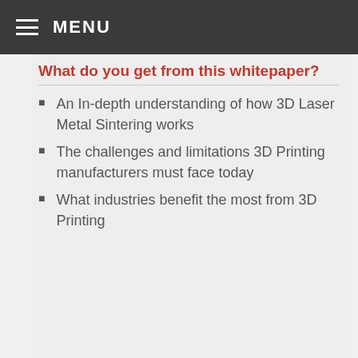MENU
What do you get from this whitepaper?
An In-depth understanding of how 3D Laser Metal Sintering works
The challenges and limitations 3D Printing manufacturers must face today
What industries benefit the most from 3D Printing